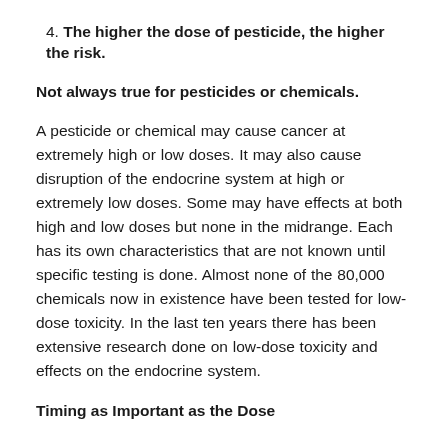4. The higher the dose of pesticide, the higher the risk.
Not always true for pesticides or chemicals.
A pesticide or chemical may cause cancer at extremely high or low doses. It may also cause disruption of the endocrine system at high or extremely low doses. Some may have effects at both high and low doses but none in the midrange. Each has its own characteristics that are not known until specific testing is done. Almost none of the 80,000 chemicals now in existence have been tested for low-dose toxicity. In the last ten years there has been extensive research done on low-dose toxicity and effects on the endocrine system.
Timing as Important as the Dose